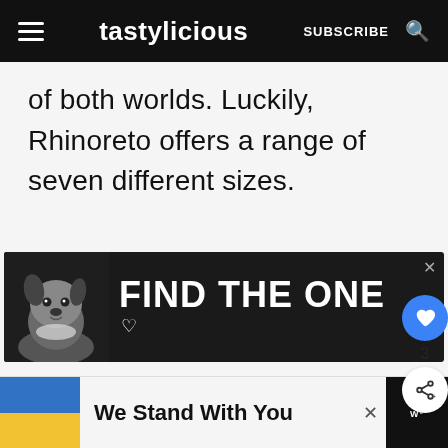tastylicious — SUBSCRIBE
of both worlds. Luckily, Rhinoreto offers a range of seven different sizes.
[Figure (illustration): Advertisement banner with dark background featuring a dog and bold text 'FIND THE ONE' with a heart icon]
[Figure (infographic): Bottom banner: Ukrainian flag colors (blue and yellow) with text 'We Stand With You' and a close button and logo]